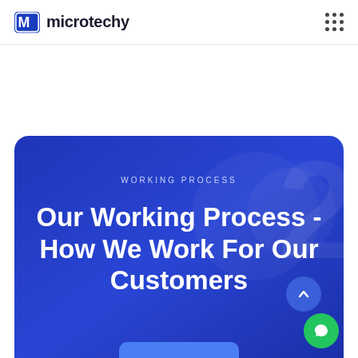microtechy
WORKING PROCESS
Our Working Process - How We Work For Our Customers